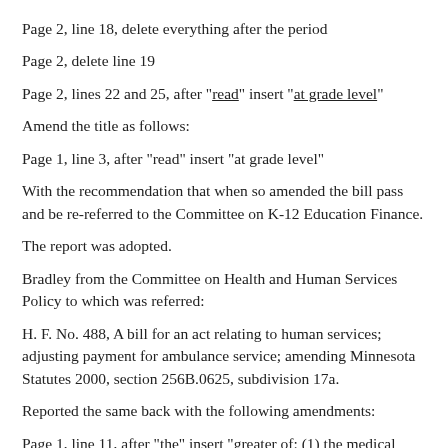Page 2, line 18, delete everything after the period
Page 2, delete line 19
Page 2, lines 22 and 25, after "read" insert "at grade level"
Amend the title as follows:
Page 1, line 3, after "read" insert "at grade level"
With the recommendation that when so amended the bill pass and be re-referred to the Committee on K-12 Education Finance.
The report was adopted.
Bradley from the Committee on Health and Human Services Policy to which was referred:
H. F. No. 488, A bill for an act relating to human services; adjusting payment for ambulance service; amending Minnesota Statutes 2000, section 256B.0625, subdivision 17a.
Reported the same back with the following amendments:
Page 1, line 11, after "the" insert "greater of: (1) the medical assistance reimbursement rate in effect on June 30, 2001; or (2) the